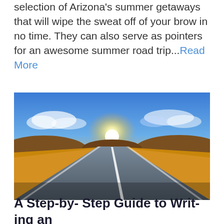selection of Arizona's summer getaways that will wipe the sweat off of your brow in no time. They can also serve as pointers for an awesome summer road trip...Read More
[Figure (photo): A straight road stretching into the horizon under a dramatic sunset sky with golden fields on either side and hills in the background]
A Step-by- Step Guide to Writing an Unforgettable Road Trip Plan